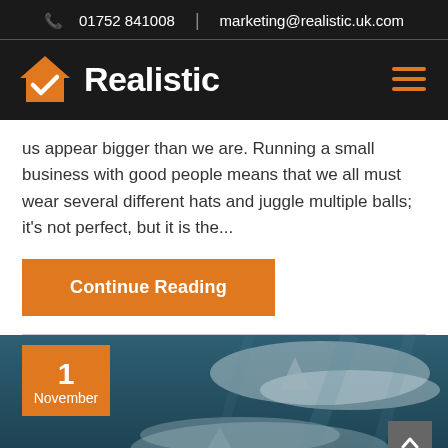01752 841008 | marketing@realistic.uk.com
[Figure (logo): Realistic company logo with orange house icon and checkmark, white bold text 'Realistic' on dark background]
us appear bigger than we are. Running a small business with good people means that we all must wear several different hats and juggle multiple balls; it's not perfect, but it is the...
Continue Reading
[Figure (photo): Underwater photo of sharks with orange date box showing '1 November' in bottom-left corner]